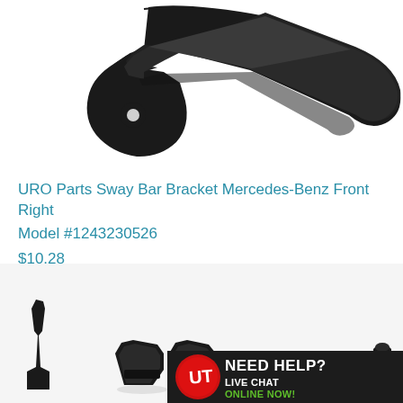[Figure (photo): Black metal sway bar bracket with circular mounting hole, shown close-up against white background]
URO Parts Sway Bar Bracket Mercedes-Benz Front Right
Model #1243230526
$10.28
[Figure (photo): Product listing showing multiple sway bar bracket parts and related hardware components, with a 'Need Help? Live Chat Online Now!' banner overlay at bottom right]